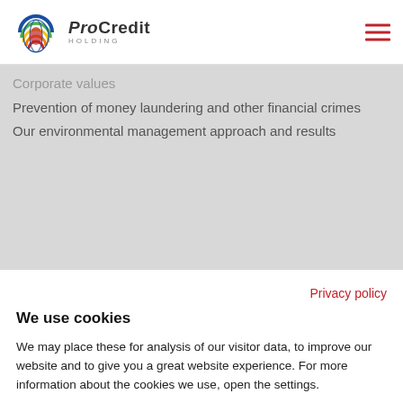[Figure (logo): ProCredit Holding logo with rainbow-colored globe icon and text 'ProCredit HOLDING']
Corporate values
Prevention of money laundering and other financial crimes
Our environmental management approach and results
Privacy policy
We use cookies
We may place these for analysis of our visitor data, to improve our website and to give you a great website experience. For more information about the cookies we use, open the settings.
OK, continue
Deny
No, adjust